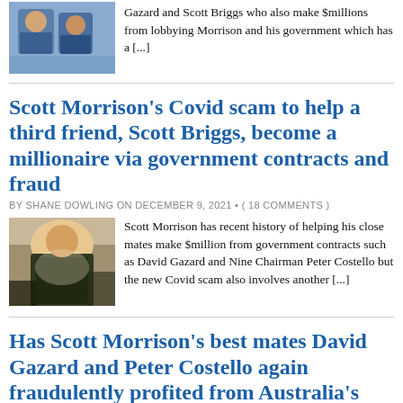[Figure (photo): Small thumbnail photo of politicians/people, cropped at top of page]
Gazard and Scott Briggs who also make $millions from lobbying Morrison and his government which has a [...]
Scott Morrison's Covid scam to help a third friend, Scott Briggs, become a millionaire via government contracts and fraud
BY SHANE DOWLING ON DECEMBER 9, 2021 • ( 18 COMMENTS )
[Figure (photo): Photo of Scott Morrison with others at an outdoor event]
Scott Morrison has recent history of helping his close mates make $million from government contracts such as David Gazard and Nine Chairman Peter Costello but the new Covid scam also involves another [...]
Has Scott Morrison's best mates David Gazard and Peter Costello again fraudulently profited from Australia's $90 billion Liberal